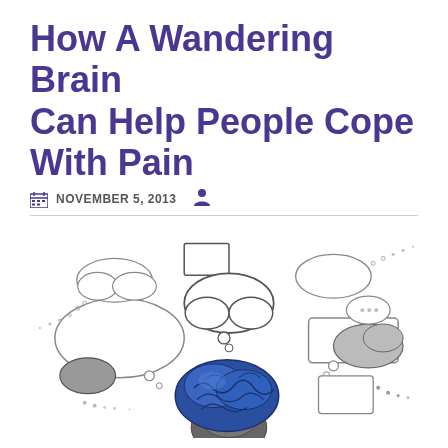How A Wandering Brain Can Help People Cope With Pain
NOVEMBER 5, 2013
[Figure (illustration): Illustration of a human head from below with a blue brain, surrounded by various thought bubbles, speech bubbles, and abstract sketched elements floating above it in a hand-drawn style.]